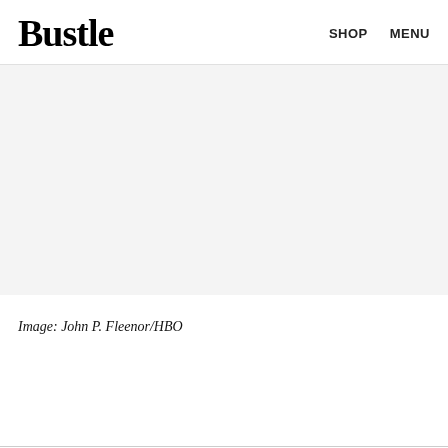Bustle   SHOP   MENU
[Figure (photo): Large image placeholder area with light gray background, content not visible]
Image: John P. Fleenor/HBO